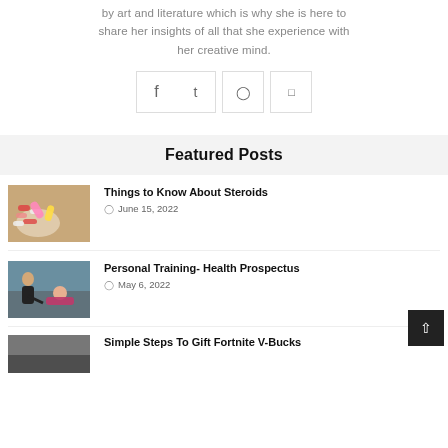by art and literature which is why she is here to share her insights of all that she experience with her creative mind.
[Figure (other): Social media icons row: Facebook, Twitter, Instagram, YouTube, each in a bordered box]
Featured Posts
[Figure (photo): Pills and capsules spilling from a bottle on a wooden surface]
Things to Know About Steroids
June 15, 2022
[Figure (photo): Personal trainer assisting a woman doing resistance band exercise]
Personal Training- Health Prospectus
May 6, 2022
[Figure (photo): Partial image of a third blog post thumbnail]
Simple Steps To Gift Fortnite V-Bucks